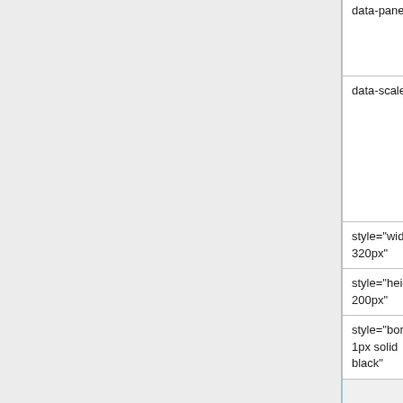| Attribute | Description |
| --- | --- |
| data-panel | ODB panel name of history panel name under /History/... |
| data-scale | Time scale of history plot. U... minutes and 5h for 5 hours... the value from the ODB un... /History/Display/<group>/... is used. |
| style="width: 320px" | Width of the history panel |
| style="height: 200px" | Height of the history panel |
| style="border: 1px solid black" | Border around the history p... |
If width and height are omitted, the default values of 320px and 200px are used. History panels are automatically ...